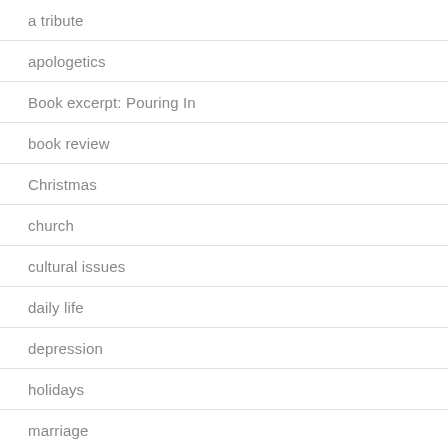a tribute
apologetics
Book excerpt: Pouring In
book review
Christmas
church
cultural issues
daily life
depression
holidays
marriage
parenting